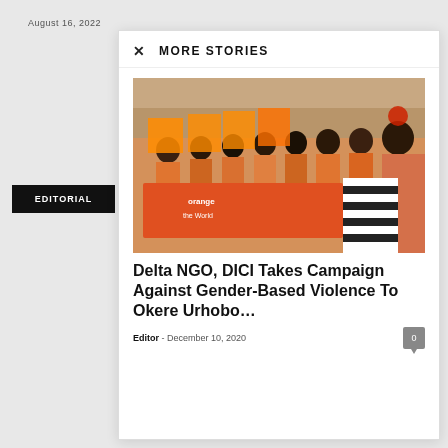August 16, 2022
MORE STORIES
[Figure (photo): Group of women in orange shirts holding signs and banners at a campaign event against gender-based violence]
Delta NGO, DICI Takes Campaign Against Gender-Based Violence To Okere Urhobo…
Editor - December 10, 2020
EDITORIAL